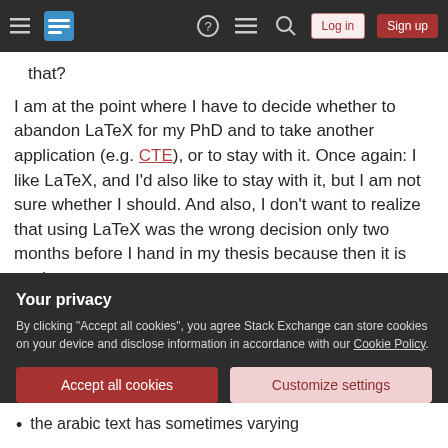Stack Exchange navigation bar with hamburger menu, logo, help, chat, search icons, Log in and Sign up buttons
that?
I am at the point where I have to decide whether to abandon LaTeX for my PhD and to take another application (e.g. CTE), or to stay with it. Once again: I like LaTeX, and I'd also like to stay with it, but I am not sure whether I should. And also, I don't want to realize that using LaTeX was the wrong decision only two months before I hand in my thesis because then it is too late.
Sorry for this question, but it had to come out
Your privacy
By clicking "Accept all cookies", you agree Stack Exchange can store cookies on your device and disclose information in accordance with our Cookie Policy.
Accept all cookies
Customize settings
the arabic text has sometimes varying